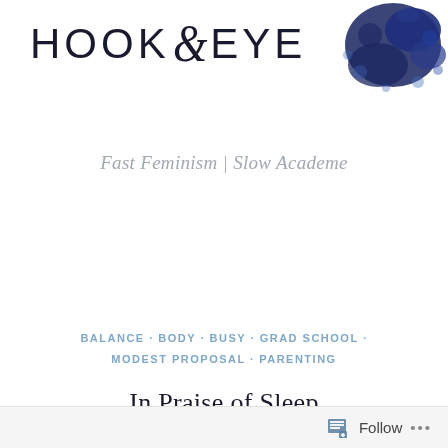[Figure (logo): Hook & Eye blog logo with stylized ampersand and dark blue ink splat watercolor in top right corner]
Fast Feminism | Slow Academe
[Figure (screenshot): Grey menu button with dashed border, hamburger icon and MENU text in white]
BALANCE · BODY · BUSY · GRAD SCHOOL · MODEST PROPOSAL · PARENTING
In Praise of Sleep
Follow ...